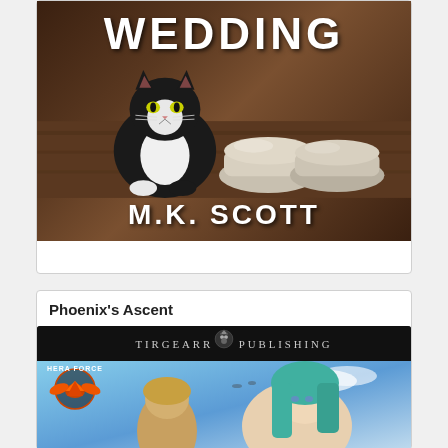[Figure (photo): Book cover showing text 'WEDDING' at top and 'M.K. SCOTT' at bottom, with a black and white cat sitting next to silver/pearl flat shoes on a wooden floor background.]
Phoenix's Ascent
[Figure (photo): Book cover for 'Phoenix's Ascent' published by Tirgearr Publishing, showing Hera Force logo at top left, a fantasy scene with a woman with teal/green hair and a man, sky background.]